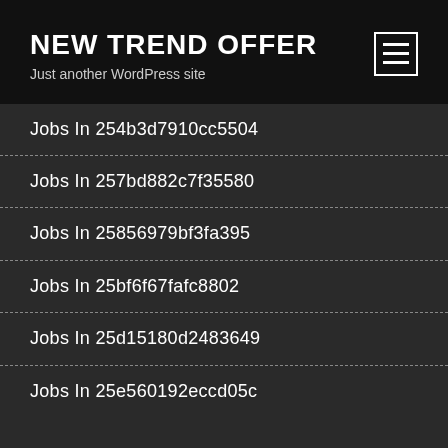NEW TREND OFFER
Just another WordPress site
Jobs In 254b3d7910cc5504
Jobs In 257bd882c7f35580
Jobs In 25856979bf3fa395
Jobs In 25bf6f67fafc8802
Jobs In 25d15180d2483649
Jobs In 25e560192eccd05c